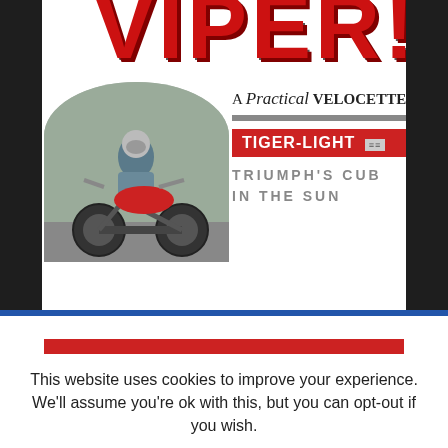[Figure (photo): Partial magazine cover showing large red 'VIPER!' text, a man riding a vintage motorcycle, text overlays reading 'A Practical Velocette', 'TIGER-LIGHT', and 'TRIUMPH'S CUB IN THE SUN']
SUBSCRIPTION OFFERS
This website uses cookies to improve your experience. We'll assume you're ok with this, but you can opt-out if you wish.
Accept   Read More